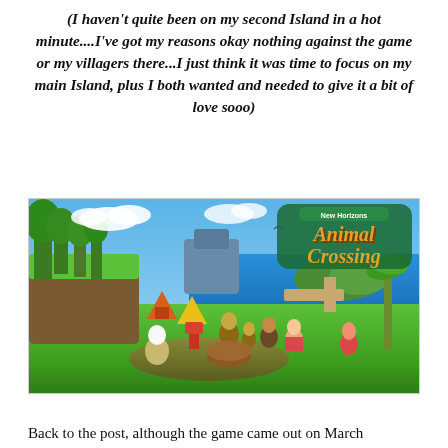(I haven't quite been on my second Island in a hot minute....I've got my reasons okay nothing against the game or my villagers there...I just think it was time to focus on my main Island, plus I both wanted and needed to give it a bit of love sooo)
[Figure (photo): Animal Crossing: New Horizons promotional artwork showing the game's island setting with various animal villagers and player characters gathered on a tropical island with blue sky, ocean, green grass, tents, trees, and the Animal Crossing New Horizons logo in the top right.]
Back to the post, although the game came out on March